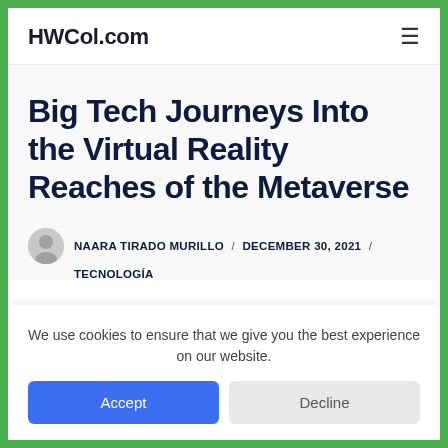HWCol.com
Big Tech Journeys Into the Virtual Reality Reaches of the Metaverse
NAARA TIRADO MURILLO / DECEMBER 30, 2021 /
TECNOLOGÍA
We use cookies to ensure that we give you the best experience on our website.
Accept
Decline